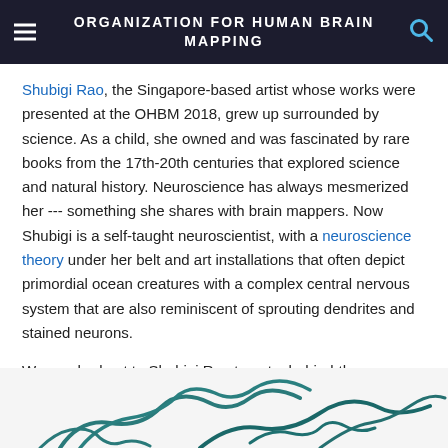ORGANIZATION FOR HUMAN BRAIN MAPPING
Shubigi Rao, the Singapore-based artist whose works were presented at the OHBM 2018, grew up surrounded by science. As a child, she owned and was fascinated by rare books from the 17th-20th centuries that explored science and natural history. Neuroscience has always mesmerized her --- something she shares with brain mappers. Now Shubigi is a self-taught neuroscientist, with a neuroscience theory under her belt and art installations that often depict primordial ocean creatures with a complex central nervous system that are also reminiscent of sprouting dendrites and stained neurons.
We reached out to Shubigi Rao to get a behind-the-scenes look at her artistic thought processes:
[Figure (photo): Bottom portion of an artwork showing curling teal/dark teal tentacle-like forms on a white background, reminiscent of ocean creatures and dendrites]